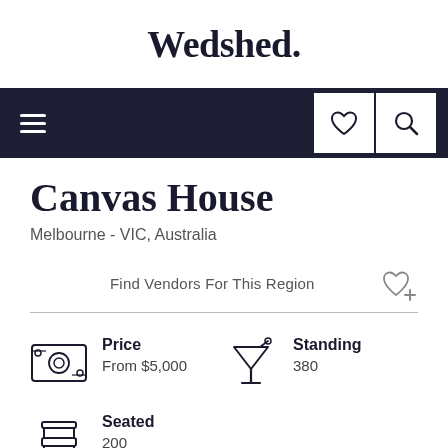Wedshed.
[Figure (screenshot): Navigation bar with hamburger menu on left, heart and search icons on right]
Canvas House
Melbourne - VIC, Australia
Find Vendors For This Region
Price
From $5,000
Standing
380
Seated
200